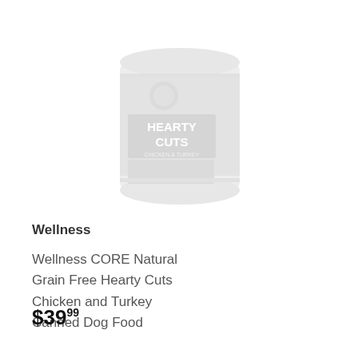[Figure (photo): A can of Wellness CORE Hearty Cuts dog food, shown faded/washed out]
Wellness
Wellness CORE Natural Grain Free Hearty Cuts Chicken and Turkey Canned Dog Food
$39.99